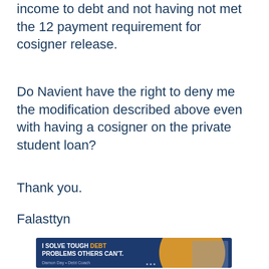income to debt and not having not met the 12 payment requirement for cosigner release.
Do Navient have the right to deny me the modification described above even with having a cosigner on the private student loan?
Thank you.
Falasttyn
[Figure (advertisement): Ad banner reading 'I SOLVE TOUGH DEBT PROBLEMS OTHERS CAN'T.' with a photo of Damon Day, Debt Coach]